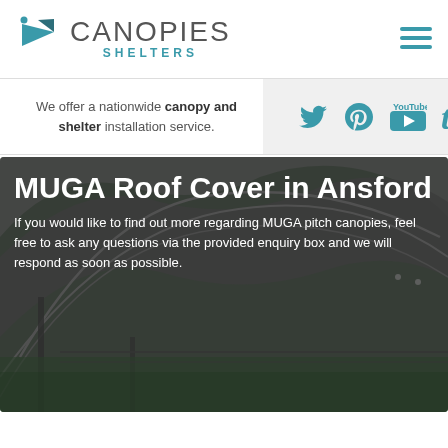[Figure (logo): Canopies Shelters logo with teal geometric bird/shape icon on the left and the text CANOPIES in large light grey letters and SHELTERS in teal below]
[Figure (illustration): Hamburger/menu icon made of three teal horizontal bars in the top right corner]
We offer a nationwide canopy and shelter installation service.
[Figure (illustration): Social media icons for Twitter, Pinterest, YouTube, and Tumblr displayed in teal on a light grey background]
[Figure (photo): Photo of a large MUGA roof canopy structure covering an outdoor sports pitch, showing the interior curved roof with steel supports and green pitch visible in background]
MUGA Roof Cover in Ansford
If you would like to find out more regarding MUGA pitch canopies, feel free to ask any questions via the provided enquiry box and we will respond as soon as possible.